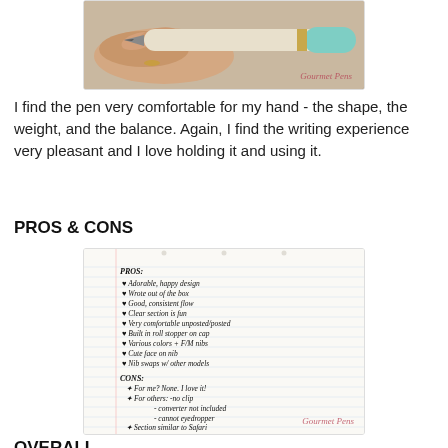[Figure (photo): Close-up photo of a hand holding a fountain pen with a cream/white barrel and teal cap, watermark 'Gourmet Pens' in pink cursive at bottom right]
I find the pen very comfortable for my hand - the shape, the weight, and the balance. Again, I find the writing experience very pleasant and I love holding it and using it.
PROS & CONS
[Figure (photo): Handwritten pros and cons list on lined notebook paper. PROS: heart bullet Adorable, happy design; heart bullet Wrote out of the box; heart bullet Good, consistent flow; heart bullet Clear section is fun; heart bullet Very comfortable unposted/posted; heart bullet Built in roll stopper on cap; heart bullet Various colors + F/M nibs; heart bullet Cute face on nib; heart bullet Nib swaps w/ other models. CONS: star For me? None. I love it! star For others: -no clip; - converter not included; - cannot eyedropper; star Section similar to Safari. Watermark 'Gourmet Pens' in pink cursive at bottom right.]
OVERALL